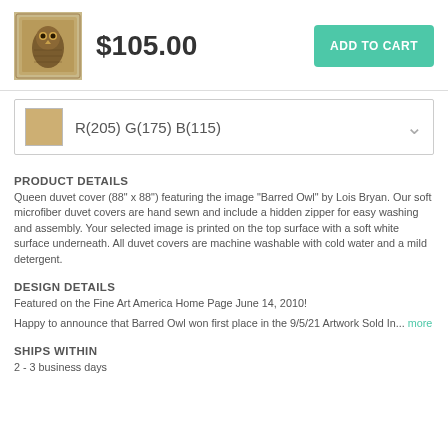[Figure (photo): Thumbnail of Barred Owl artwork product image]
$105.00
ADD TO CART
R(205) G(175) B(115)
PRODUCT DETAILS
Queen duvet cover (88" x 88") featuring the image "Barred Owl" by Lois Bryan. Our soft microfiber duvet covers are hand sewn and include a hidden zipper for easy washing and assembly. Your selected image is printed on the top surface with a soft white surface underneath. All duvet covers are machine washable with cold water and a mild detergent.
DESIGN DETAILS
Featured on the Fine Art America Home Page June 14, 2010!
Happy to announce that Barred Owl won first place in the 9/5/21 Artwork Sold In... more
SHIPS WITHIN
2 - 3 business days